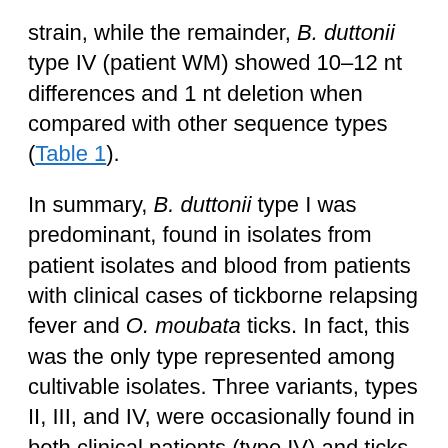strain, while the remainder, B. duttonii type IV (patient WM) showed 10–12 nt differences and 1 nt deletion when compared with other sequence types (Table 1).
In summary, B. duttonii type I was predominant, found in isolates from patient isolates and blood from patients with clinical cases of tickborne relapsing fever and O. moubata ticks. In fact, this was the only type represented among cultivable isolates. Three variants, types II, III, and IV, were occasionally found in both clinical patients (type IV) and ticks (types II, III). A further, smaller, amplicon showed greatest homology with B. crocidurae and fell outside the cluster of B. recurrentis and B. duttonii sequences and was found in both a tick and a patient. Although these variants are an apparent minority, they have been found in conjunction with type I in ticks (B.